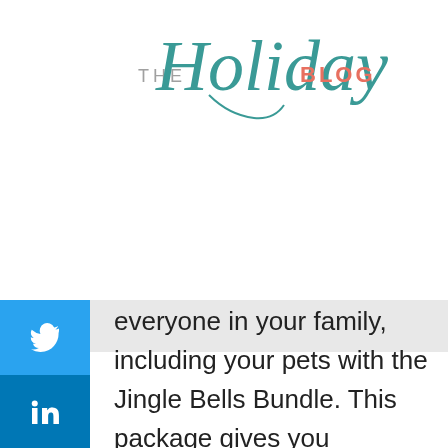THE Holiday BLOG
everyone in your family, including your pets with the Jingle Bells Bundle. This package gives you unlimited access to the My Photo Platform, where you can create fantastic holiday memories in seconds without having to turn your living room into a film studio! Included in the bundle is Story Time. Give your child the unforgettable opportunity to listen to the classic holiday tale, Twas the Night Before Christmas as bedtime story read by Santa himself! Visit createholidaymagic.com and